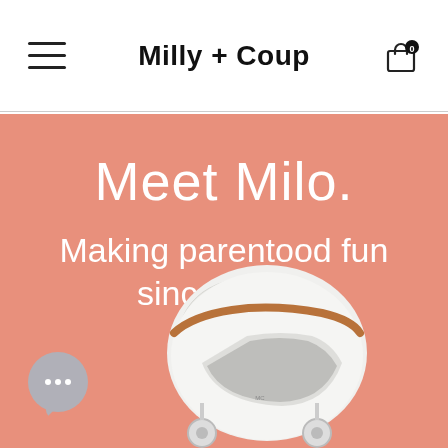Milly + Coup
Meet Milo.
Making parentood fun since 2019.
[Figure (photo): White baby stroller/pram with tan leather accents on a salmon/coral background]
[Figure (illustration): Chat bubble icon with three dots in bottom-left corner]